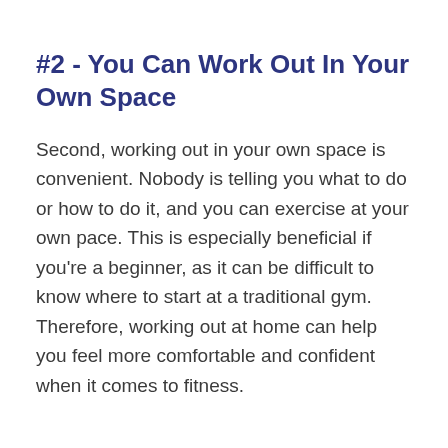#2 - You Can Work Out In Your Own Space
Second, working out in your own space is convenient. Nobody is telling you what to do or how to do it, and you can exercise at your own pace. This is especially beneficial if you're a beginner, as it can be difficult to know where to start at a traditional gym. Therefore, working out at home can help you feel more comfortable and confident when it comes to fitness.